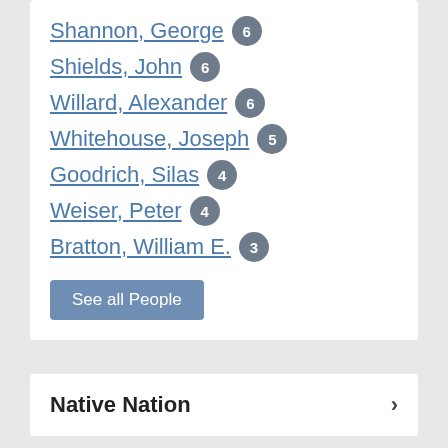Shannon, George 6
Shields, John 6
Willard, Alexander 6
Whitehouse, Joseph 5
Goodrich, Silas 4
Weiser, Peter 4
Bratton, William E. 3
See all People
Native Nation
Place
State